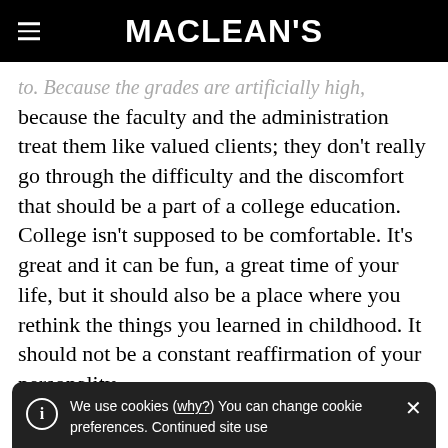MACLEAN'S
to. Because the grades are artificially high, because the faculty and the administration treat them like valued clients; they don't really go through the difficulty and the discomfort that should be a part of a college education. College isn't supposed to be comfortable. It's great and it can be fun, a great time of your life, but it should also be a place where you rethink the things you learned in childhood. It should not be a constant reaffirmation of your personality
We use cookies (why?) You can change cookie preferences. Continued site use